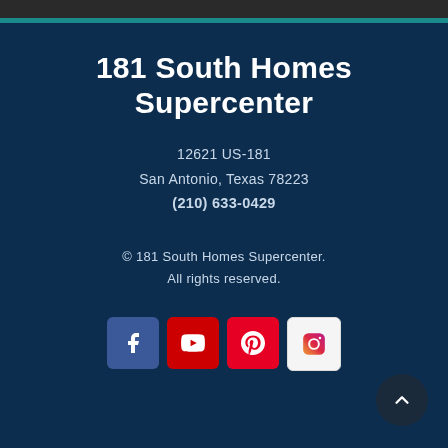181 South Homes Supercenter
12621 US-181
San Antonio, Texas 78223
(210) 633-0429
© 181 South Homes Supercenter.
All rights reserved.
[Figure (infographic): Social media icons: Facebook, YouTube, Pinterest, Instagram]
[Figure (other): Scroll to top arrow button]